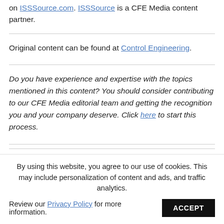on ISSSource.com. ISSSource is a CFE Media content partner.
Original content can be found at Control Engineering.
Do you have experience and expertise with the topics mentioned in this content? You should consider contributing to our CFE Media editorial team and getting the recognition you and your company deserve. Click here to start this process.
By using this website, you agree to our use of cookies. This may include personalization of content and ads, and traffic analytics. Review our Privacy Policy for more information.